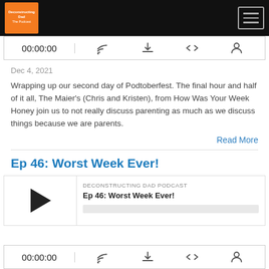Deconstructing Dad - The Podcast (nav bar with logo and hamburger menu)
[Figure (screenshot): Podcast audio player bar showing 00:00:00 timestamp and icons for cast, download, embed, and share]
Dec 4, 2021
Wrapping up our second day of Podtoberfest. The final hour and half of it all, The Maier's (Chris and Kristen), from How Was Your Week Honey join us to not really discuss parenting as much as we discuss things because we are parents.
Read More
Ep 46: Worst Week Ever!
[Figure (screenshot): Podcast player widget showing play button, DECONSTRUCTING DAD PODCAST label, episode title Ep 46: Worst Week Ever!, and a progress bar]
[Figure (screenshot): Podcast audio player bar showing 00:00:00 timestamp and icons for cast, download, embed, and share]